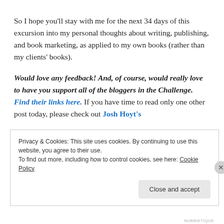So I hope you'll stay with me for the next 34 days of this excursion into my personal thoughts about writing, publishing, and book marketing, as applied to my own books (rather than my clients' books).
Would love any feedback! And, of course, would really love to have you support all of the bloggers in the Challenge. Find their links here. If you have time to read only one other post today, please check out Josh Hoyt's
Privacy & Cookies: This site uses cookies. By continuing to use this website, you agree to their use.
To find out more, including how to control cookies, see here: Cookie Policy
Close and accept
NUBBIETIQUE